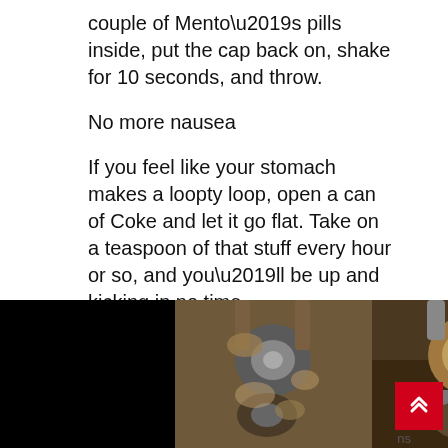couple of Mento’s pills inside, put the cap back on, shake for 10 seconds, and throw.
No more nausea
If you feel like your stomach makes a loopty loop, open a can of Coke and let it go flat. Take on a teaspoon of that stuff every hour or so, and you’ll be up and kicking in no time.
Hack away the powdery corrosion on car battery’s terminals
[Figure (photo): Before and after photos of corroded car battery terminals - four panel image strip showing corroded and cleaned battery terminals]